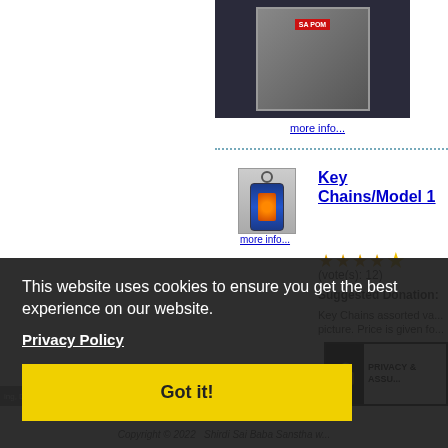[Figure (photo): Product photo of a keychain item on dark background, partially visible at top of page]
more info...
[Figure (photo): Small keychain product image showing a blue keychain with orange icon]
more info...
Key Chains/Model 1
(vote(s): 12)
Suggested Donation:
Key Chains assorted va... picture. Price is given fo...
This website uses cookies to ensure you get the best experience on our website.
Privacy Policy
Got it!
PRIVACY & ASSU...
Copyright © 2022   Shirdi Sai Baba Sanstha w...